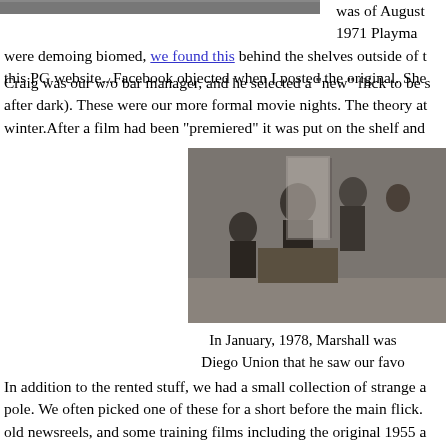was of August 1971 Playma were demoing biomed, we found this behind the shelves outside of t this PG website...Facebook objected when I posted the original. She
[Figure (photo): Black and white photograph of a group of people in a room, appears to be a social gathering, partially cropped at top]
Craig was our w/o bar manager, and he selected a "new" flick to be s after dark). These were our more formal movie nights. The theory at winter.After a film had been "premiered" it was put on the shelf and
[Figure (photo): Black and white photograph showing a group of people gathered in what appears to be a living room or lounge setting, 1970s era]
In January, 1978, Marshall was Diego Union that he saw our favo
In addition to the rented stuff, we had a small collection of strange a pole. We often picked one of these for a short before the main flick. old newsreels, and some training films including the original 1955 a cold war stuff.